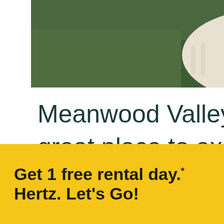[Figure (photo): Close-up photo of an alpaca or llama face looking down at the camera, with green grass in the background. The animal has white/cream colored wool.]
Meanwood Valley Urban Farm is a great place to explore, especially if your children love animals. Here you will find different animals including sheep, goats, pigs, and even alpacas, to name a few.
[Figure (screenshot): WHAT'S NEXT arrow banner with thumbnail image of Liverpool and text 'Things To Do In Liverpool...']
[Figure (screenshot): Advertisement banner: 'Get 1 free rental day.* Hertz. Let's Go!' with Book Now button and Hertz logo on black background]